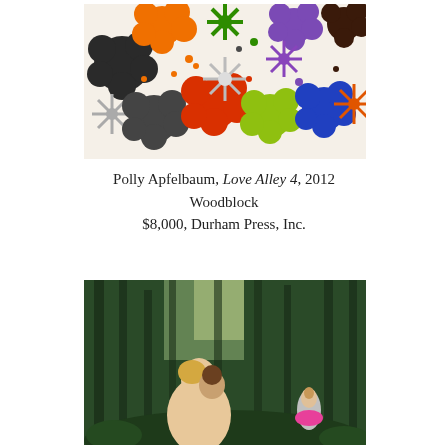[Figure (illustration): Colorful woodblock print of various flowers and daisy-like shapes in a rainbow of colors (orange, black, gray, green, red, purple, blue, brown, yellow) on a white background.]
Polly Apfelbaum, Love Alley 4, 2012
Woodblock
$8,000, Durham Press, Inc.
[Figure (photo): Photograph of two young girls hugging in a forest setting. In the background, a third girl in a pink tutu stands among trees.]